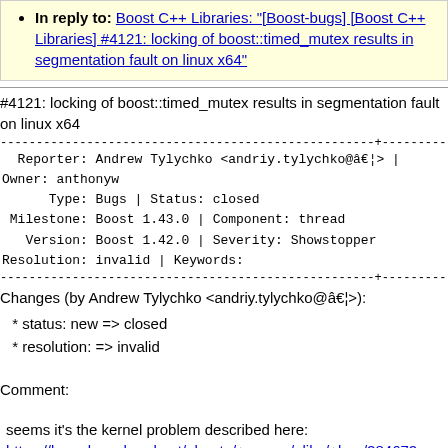In reply to: Boost C++ Libraries: "[Boost-bugs] [Boost C++ Libraries] #4121: locking of boost::timed_mutex results in segmentation fault on linux x64"
#4121: locking of boost::timed_mutex results in segmentation fault on linux x64
Reporter: Andrew Tylychko <andriy.tylychko@â€¦> | Owner: anthonyw
      Type: Bugs | Status: closed
 Milestone: Boost 1.43.0 | Component: thread
   Version: Boost 1.42.0 | Severity: Showstopper
Resolution: invalid | Keywords:
Changes (by Andrew Tylychko <andriy.tylychko@â€¦>):
* status: new => closed
* resolution: => invalid
Comment:
seems it's the kernel problem described here:
https://bugs.launchpad.net/ubuntu/+source/glibc/+bug/284672